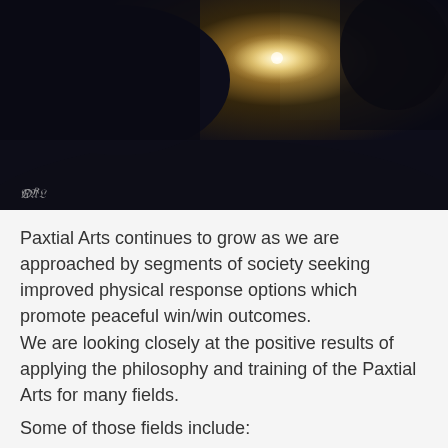[Figure (photo): Dark silhouette photograph of a person with sunburst/light flare in background, taken outdoors near water or rocky terrain. A small watermark logo is visible in the lower left corner.]
Paxtial Arts continues to grow as we are approached by segments of society seeking improved physical response options which promote peaceful win/win outcomes.
We are looking closely at the positive results of applying the philosophy and training of the Paxtial Arts for many fields.
Some of those fields include: